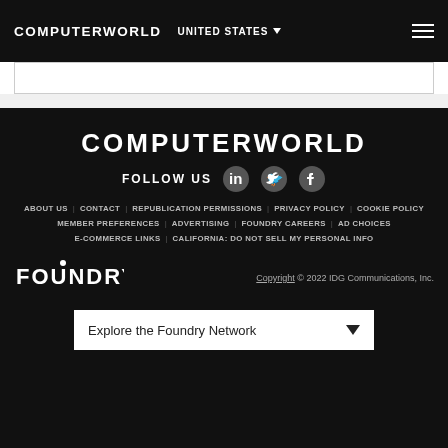COMPUTERWORLD   UNITED STATES
COMPUTERWORLD
FOLLOW US
ABOUT US | CONTACT | REPUBLICATION PERMISSIONS | PRIVACY POLICY | COOKIE POLICY
MEMBER PREFERENCES | ADVERTISING | FOUNDRY CAREERS | AD CHOICES
E-COMMERCE LINKS | CALIFORNIA: DO NOT SELL MY PERSONAL INFO
[Figure (logo): Foundry logo in white text]
Copyright © 2022 IDG Communications, Inc.
Explore the Foundry Network